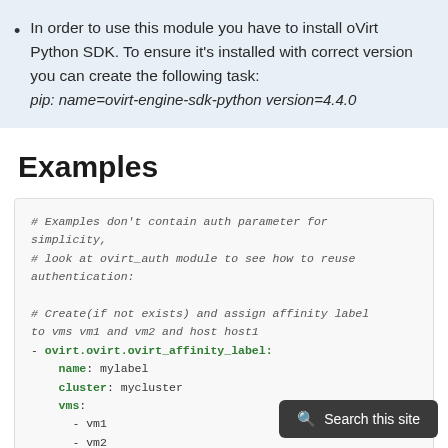In order to use this module you have to install oVirt Python SDK. To ensure it's installed with correct version you can create the following task: pip: name=ovirt-engine-sdk-python version=4.4.0
Examples
# Examples don't contain auth parameter for simplicity,
# look at ovirt_auth module to see how to reuse authentication:

# Create(if not exists) and assign affinity label to vms vm1 and vm2 and host host1
- ovirt.ovirt.ovirt_affinity_label:
    name: mylabel
    cluster: mycluster
    vms:
      - vm1
      - vm2
    hosts:
      - host1